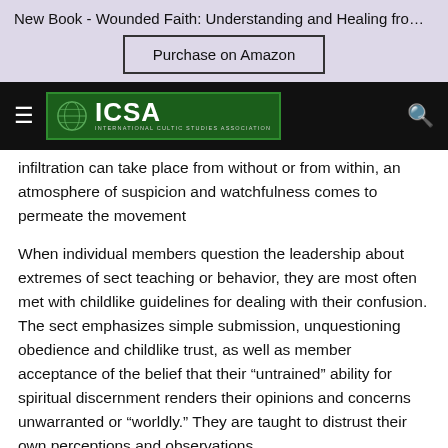New Book - Wounded Faith: Understanding and Healing from Spi...
Purchase on Amazon
[Figure (logo): ICSA International Cultic Studies Association logo on dark navigation bar with hamburger menu and search icon]
infiltration can take place from without or from within, an atmosphere of suspicion and watchfulness comes to permeate the movement
When individual members question the leadership about extremes of sect teaching or behavior, they are most often met with childlike guidelines for dealing with their confusion. The sect emphasizes simple submission, unquestioning obedience and childlike trust, as well as member acceptance of the belief that their “untrained” ability for spiritual discernment renders their opinions and concerns unwarranted or “worldly.” They are taught to distrust their own perceptions and observations.